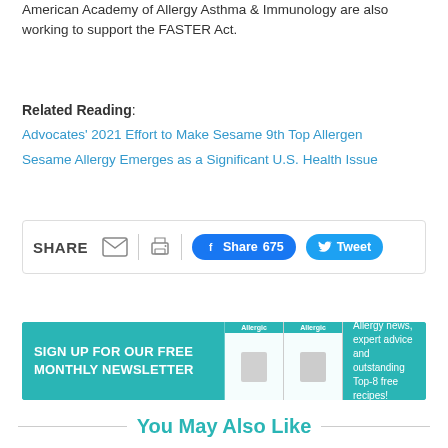American Academy of Allergy Asthma & Immunology are also working to support the FASTER Act.
Related Reading:
Advocates' 2021 Effort to Make Sesame 9th Top Allergen
Sesame Allergy Emerges as a Significant U.S. Health Issue
[Figure (infographic): Share bar with SHARE label, email icon, print icon, Facebook Share 675 button, and Tweet button]
[Figure (infographic): Newsletter signup banner: SIGN UP FOR OUR FREE MONTHLY NEWSLETTER with magazine images and text: Allergy news, expert advice and outstanding Top-8 free recipes!]
You May Also Like
[Figure (photo): Thumbnail photo on left side]
[Figure (photo): Thumbnail photo on right side]